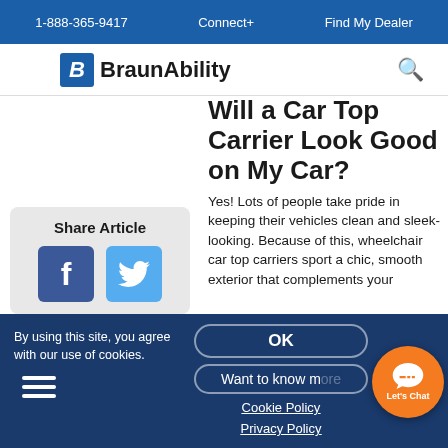1-888-365-9417   Connect+   Find My Dealer
[Figure (logo): BraunAbility logo with stylized B icon]
Will a Car Top Carrier Look Good on My Car?
Yes! Lots of people take pride in keeping their vehicles clean and sleek-looking. Because of this, wheelchair car top carriers sport a chic, smooth exterior that complements your
Share Article
[Figure (infographic): Facebook and Twitter share buttons]
By using this site, you agree with our use of cookies.
OK
Want to know more
Cookie Policy
Privacy Policy
[Figure (other): Let's Chat button - orange circular chat widget]